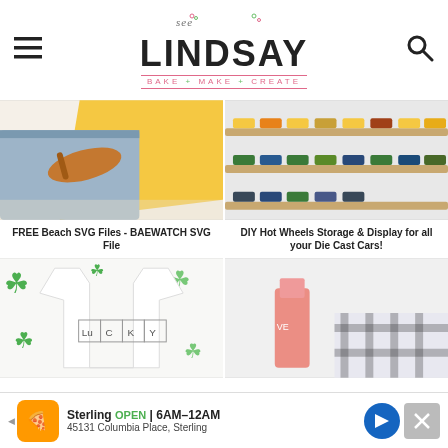[Figure (logo): See Lindsay blog logo with hamburger menu icon and search icon. Logo reads 'see LINDSAY' with tagline 'BAKE + MAKE + CREATE']
[Figure (photo): Beach-themed photo with yellow towel, flip flops, and jeans]
[Figure (photo): DIY Hot Wheels storage display shelf with toy cars]
FREE Beach SVG Files - BAEWATCH SVG File
DIY Hot Wheels Storage & Display for all your Die Cast Cars!
[Figure (photo): White t-shirt with LUCKY periodic table elements design, surrounded by shamrocks]
[Figure (photo): Partially visible image with buffalo plaid fabric and cleaning products]
[Figure (infographic): Ad banner: Sterling OPEN 6AM-12AM, 45131 Columbia Place, Sterling]